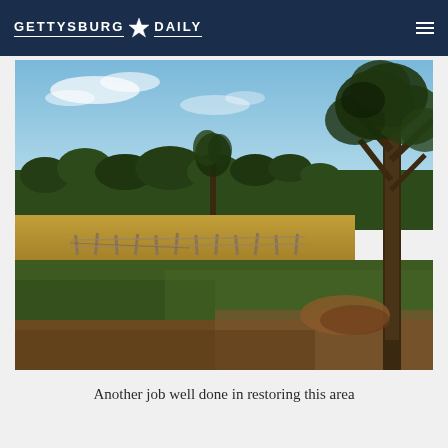GETTYSBURG DAILY
[Figure (photo): Battlefield landscape photo showing open fields with brown and green grass, split-rail wooden fencing in the middle ground, trees in the background including a prominent tree on the right side, and a clear blue sky with light clouds. The scene depicts a restored area of the Gettysburg battlefield.]
Another job well done in restoring this area